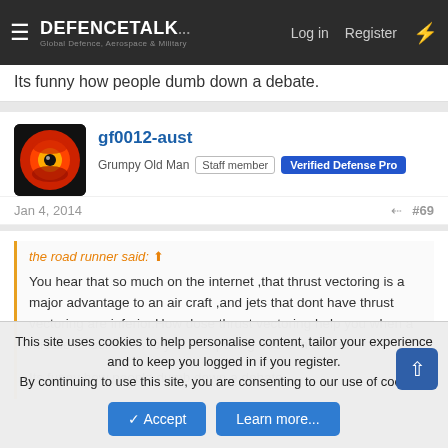DEFENCETALK — Log in | Register
Its funny how people dumb down a debate.
gf0012-aust
Grumpy Old Man | Staff member | Verified Defense Pro
Jan 4, 2014  #69
the road runner said: You hear that so much on the internet ,that thrust vectoring is a major advantage to an air craft ,and jets that dont have thrust vectoring are inferior.How dose thrust vectoring help you when a missile is locked on to you and pulling 40G's in a turn.

Its funny how people dumb down a debate.
This site uses cookies to help personalise content, tailor your experience and to keep you logged in if you register.
By continuing to use this site, you are consenting to our use of cookies.